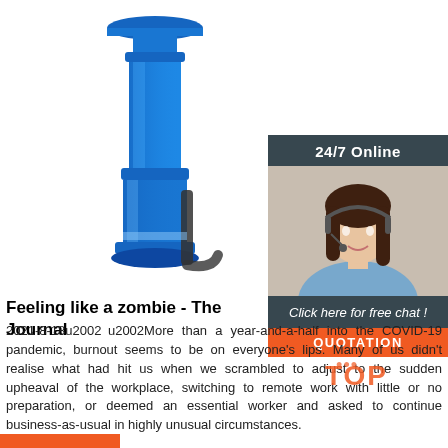[Figure (photo): Blue industrial submersible pump on white background]
[Figure (photo): 24/7 Online customer service sidebar with woman wearing headset, dark grey header, italic CTA text 'Click here for free chat!', and orange QUOTATION button]
Feeling like a zombie - The Journal
2021-8-18u2002 u2002More than a year-and-a-half into the COVID-19 pandemic, burnout seems to be on everyone's lips. Many of us didn't realise what had hit us when we scrambled to adjust to the sudden upheaval of the workplace, switching to remote work with little or no preparation, or deemed an essential worker and asked to continue business-as-usual in highly unusual circumstances.